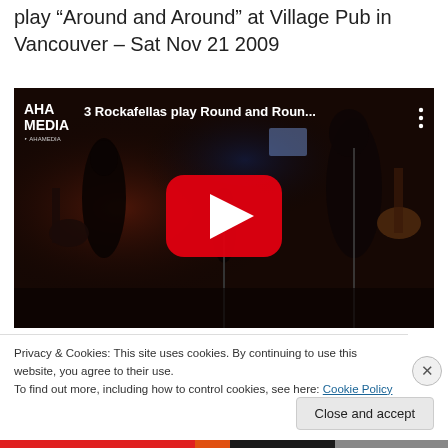play “Around and Around” at Village Pub in Vancouver – Sat Nov 21 2009
[Figure (screenshot): YouTube video embed showing '3 Rockafellas play Round and Roun...' with AHA Media logo in top left, red play button in center, musicians performing on dark stage in background]
Privacy & Cookies: This site uses cookies. By continuing to use this website, you agree to their use.
To find out more, including how to control cookies, see here: Cookie Policy
Close and accept